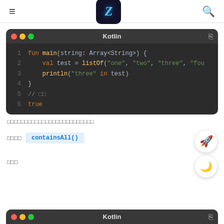Kotlin code tutorial page with logo and navigation
[Figure (screenshot): Dark-themed Kotlin code block showing fun main with listOf and println, output true]
□□□□□□□□□□□□□□□□□□□□□□□□□
□□□□  containsAll()
□□□
[Figure (screenshot): Second Kotlin code block header (partial, bottom of page)]